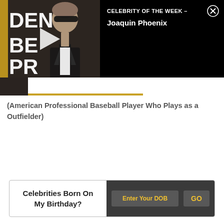[Figure (screenshot): Video thumbnail showing a man in a tuxedo at what appears to be the Golden Globes event, with a white play button overlay. The background text on the left shows partial letters 'DEN', 'BE', 'PR' in gold/white on dark background.]
CELEBRITY OF THE WEEK – Joaquin Phoenix
(American Professional Baseball Player Who Plays as a Outfielder)
Celebrities Born On My Birthday?
Enter Your DOB
GO